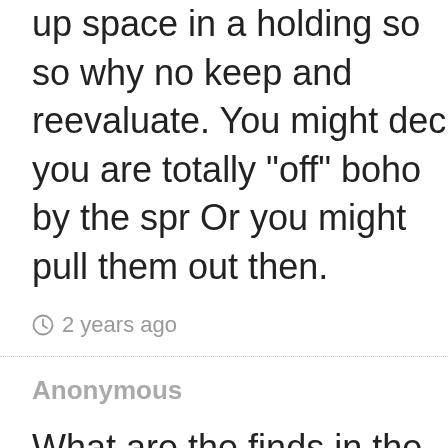up space in a holding so so why not keep and reevaluate. You might dec you are totally "off" boho by the spr Or you might pull them out then.
2 years ago
Anonymous
What are the finds in the first part o your post - that include the red chu Cons? Are these things you aren't lik